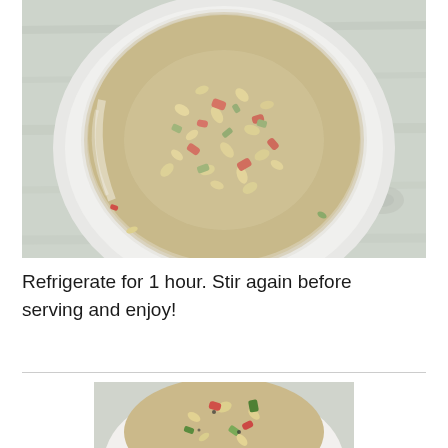[Figure (photo): Overhead view of a white bowl filled with macaroni pasta salad containing red peppers, celery, and creamy dressing, placed on a light wood surface]
Refrigerate for 1 hour. Stir again before serving and enjoy!
[Figure (photo): Partial view of a plate of macaroni pasta salad with vegetables and herbs, shot from above at an angle]